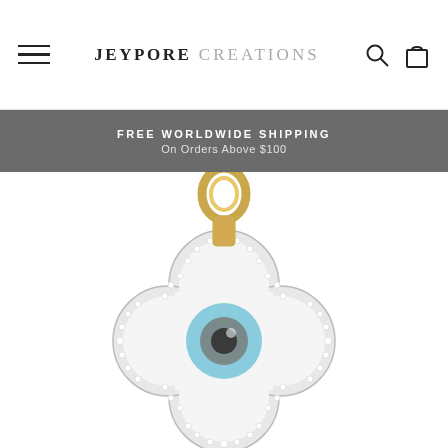JEYPORE CREATIONS
FREE WORLDWIDE SHIPPING
On Orders Above $100
[Figure (photo): Close-up photo of a jewelry charm — a four-leaf clover / quatrefoil shaped pendant with a mother-of-pearl white body, diamond-paved silver border, an evil eye motif in the center with blue and dark grey/black iris, and a gold bail/ring at the top for attaching to a necklace or bracelet.]